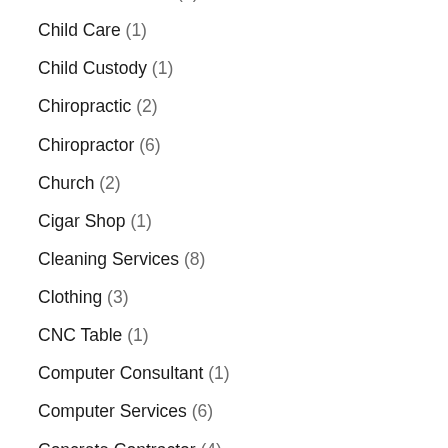CBN Formulation (1)
Child Care (1)
Child Custody (1)
Chiropractic (2)
Chiropractor (6)
Church (2)
Cigar Shop (1)
Cleaning Services (8)
Clothing (3)
CNC Table (1)
Computer Consultant (1)
Computer Services (6)
Concrete Contractor (4)